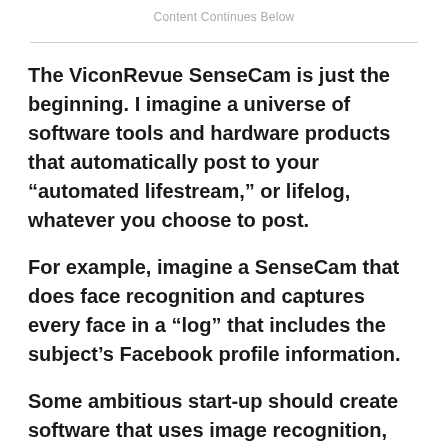Content Continues Below
The ViconRevue SenseCam is just the beginning. I imagine a universe of software tools and hardware products that automatically post to your “automated lifestream,” or lifelog, whatever you choose to post.
For example, imagine a SenseCam that does face recognition and captures every face in a “log” that includes the subject’s Facebook profile information.
Some ambitious start-up should create software that uses image recognition, GPS data,